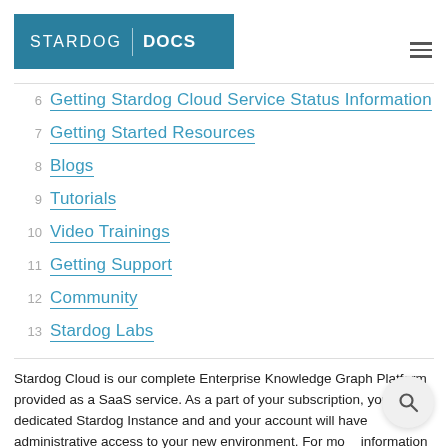STARDOG | DOCS
6  Getting Stardog Cloud Service Status Information
7  Getting Started Resources
8  Blogs
9  Tutorials
10  Video Trainings
11  Getting Support
12  Community
13  Stardog Labs
Stardog Cloud is our complete Enterprise Knowledge Graph Platform provided as a SaaS service. As a part of your subscription, you get a dedicated Stardog Instance and and your account will have administrative access to your new environment. For more information on Stardog Cloud please visit our website